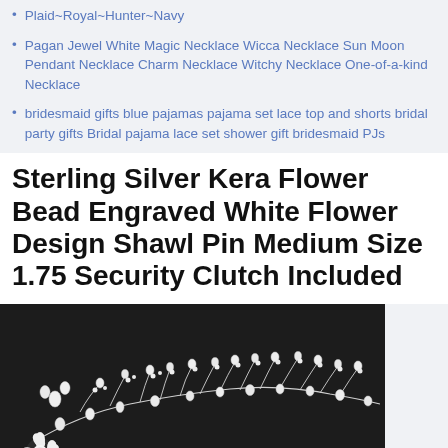Plaid~Royal~Hunter~Navy
Pagan Jewel White Magic Necklace Wicca Necklace Sun Moon Pendant Necklace Charm Necklace Witchy Necklace One-of-a-kind Necklace
bridesmaid gifts blue pajamas pajama set lace top and shorts bridal party gifts Bridal pajama lace set shower gift bridesmaid PJs
Sterling Silver Kera Flower Bead Engraved White Flower Design Shawl Pin Medium Size 1.75 Security Clutch Included
[Figure (photo): A floral pearl and crystal wire hair vine / jewelry piece photographed on a dark black background. The piece features delicate silver wire branches adorned with white pearls and small white flower accents.]